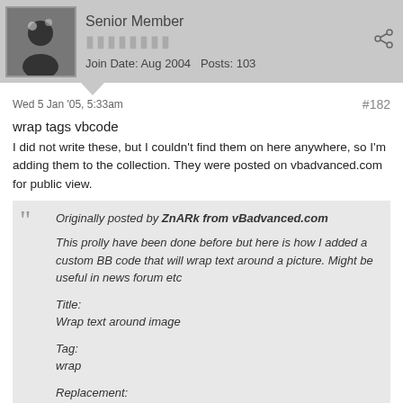Senior Member
Join Date: Aug 2004   Posts: 103
Wed 5 Jan '05, 5:33am
#182
wrap tags vbcode
I did not write these, but I couldn't find them on here anywhere, so I'm adding them to the collection. They were posted on vbadvanced.com for public view.
Originally posted by ZnARk from vBadvanced.com
This prolly have been done before but here is how I added a custom BB code that will wrap text around a picture. Might be useful in news forum etc

Title:
Wrap text around image

Tag:
wrap

Replacement:

HTML Code:
<table border="0" align="left" valign="top">
<tr>
<td><img src="{param}" border="0" align="left"><